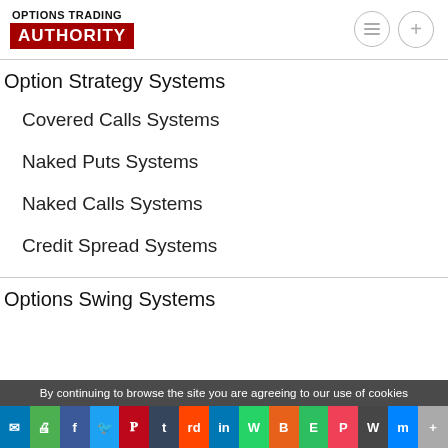OPTIONS TRADING AUTHORITY
Option Strategy Systems
Covered Calls Systems
Naked Puts Systems
Naked Calls Systems
Credit Spread Systems
Options Swing Systems
By continuing to browse the site you are agreeing to our use of cookies